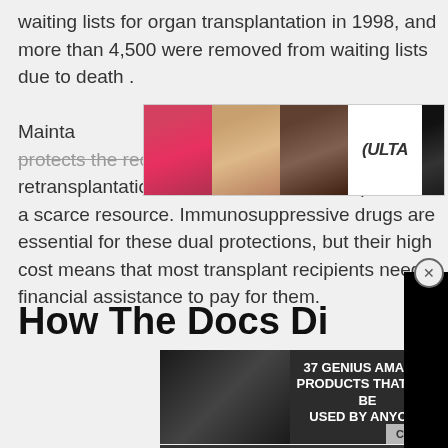waiting lists for organ transplantation in 1998, and more than 4,500 were removed from waiting lists due to death. Maintaining immunosuppression not only protects the recipients of transplants from death, retransplantation, or other trauma it also protects a scarce resource. Immunosuppressive drugs are essential for these dual protections, but their high cost means that most transplant recipients need financial assistance to pay for them.
[Figure (other): Ulta Beauty advertisement banner with cosmetic images and SHOP NOW button]
How The Docs Did
[Figure (other): Black video overlay rectangle covering right portion of page]
[Figure (other): 37 Genius Amazon Products That Can Be Used By Anyone advertisement with CLOSE button]
[Figure (other): Seamless food delivery advertisement with ORDER NOW button]